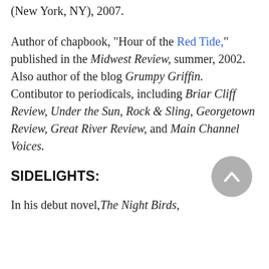(New York, NY), 2007.
Author of chapbook, "Hour of the Red Tide," published in the Midwest Review, summer, 2002. Also author of the blog Grumpy Griffin. Contibutor to periodicals, including Briar Cliff Review, Under the Sun, Rock & Sling, Georgetown Review, Great River Review, and Main Channel Voices.
SIDELIGHTS:
In his debut novel, The Night Birds,